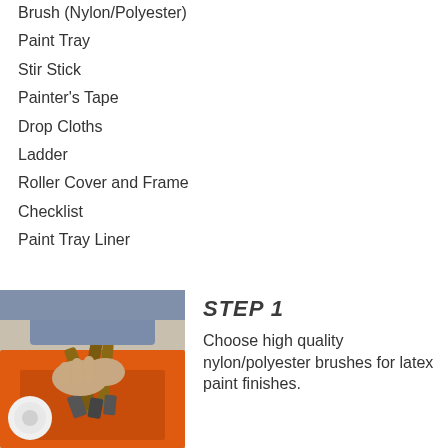Brush (Nylon/Polyester)
Paint Tray
Stir Stick
Painter's Tape
Drop Cloths
Ladder
Roller Cover and Frame
Checklist
Paint Tray Liner
[Figure (photo): Hands holding paint brushes over an orange paint tray with roller]
STEP 1
Choose high quality nylon/polyester brushes for latex paint finishes.